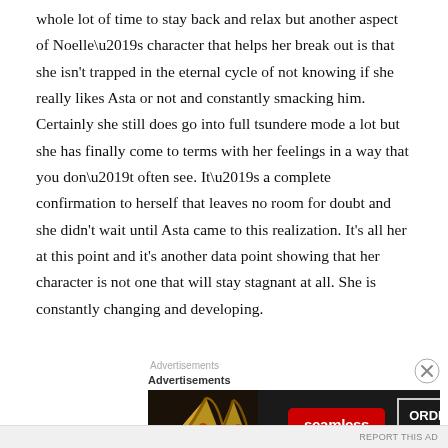whole lot of time to stay back and relax but another aspect of Noelle’s character that helps her break out is that she isn't trapped in the eternal cycle of not knowing if she really likes Asta or not and constantly smacking him. Certainly she still does go into full tsundere mode a lot but she has finally come to terms with her feelings in a way that you don’t often see. It’s a complete confirmation to herself that leaves no room for doubt and she didn't wait until Asta came to this realization. It's all her at this point and it's another data point showing that her character is not one that will stay stagnant at all. She is constantly changing and developing.
[Figure (other): Seamless food delivery advertisement banner with pizza image on left, red Seamless logo button in center, and ORDER NOW button on right, on dark background.]
REPORT THIS AD